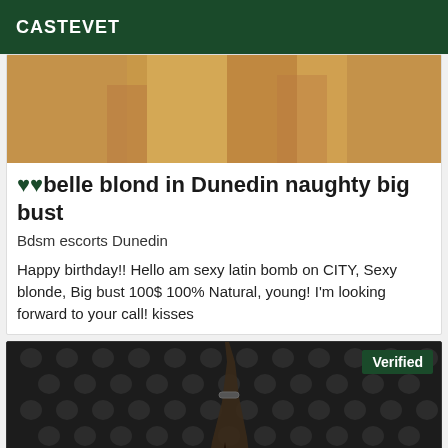CASTEVET
[Figure (photo): Partial photo of a person's legs/lower body on a light brown/tan surface, upper portion of listing card image]
♥♥belle blond in Dunedin naughty big bust
Bdsm escorts Dunedin
Happy birthday!! Hello am sexy latin bomb on CITY, Sexy blonde, Big bust 100$ 100% Natural, young! I'm looking forward to your call! kisses
[Figure (photo): Dark tufted leather background with a figure's legs in high heels visible, with a green 'Verified' badge in the top right corner]